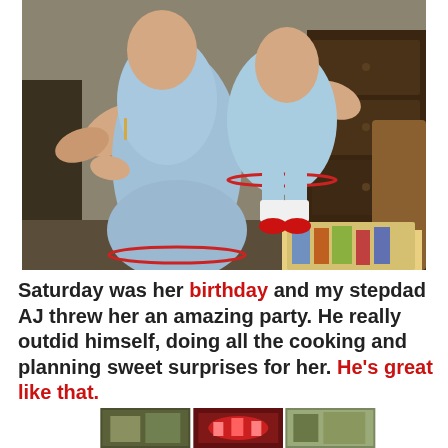[Figure (photo): Two young children dressed in matching light blue dresses with red trim, being held by an adult. A wooden dresser is visible in the background on the right. A birthday cake or decorated table is partially visible at the bottom right.]
Saturday was her birthday and my stepdad AJ threw her an amazing party. He really outdid himself, doing all the cooking and planning sweet surprises for her. He's great like that.
[Figure (photo): Three small thumbnail photos at the bottom of the page showing party-related images.]